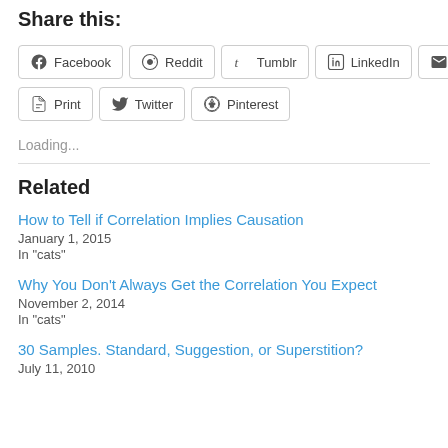Share this:
Facebook
Reddit
Tumblr
LinkedIn
Email
Print
Twitter
Pinterest
Loading...
Related
How to Tell if Correlation Implies Causation
January 1, 2015
In "cats"
Why You Don’t Always Get the Correlation You Expect
November 2, 2014
In "cats"
30 Samples. Standard, Suggestion, or Superstition?
July 11, 2010